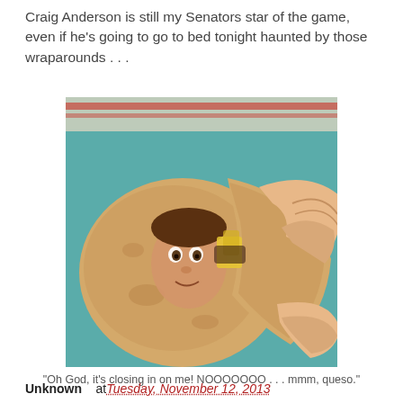Craig Anderson is still my Senators star of the game, even if he's going to go to bed tonight haunted by those wraparounds . . .
[Figure (photo): Humorous meme image showing a person's face photoshopped inside a wrap/burrito being folded on a teal cutting board, with hands closing the wrap around the face. Food fillings like corn are visible.]
"Oh God, it's closing in on me! NOOOOOOO . . . mmm, queso."
Unknown   at Tuesday, November 12, 2013